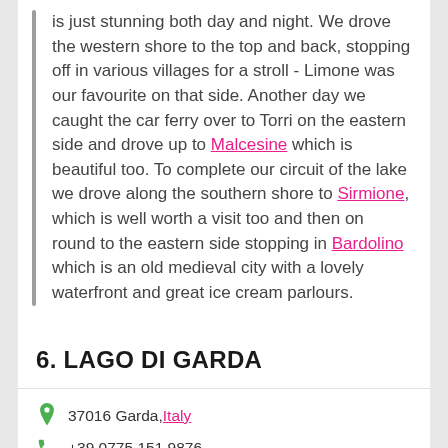is just stunning both day and night. We drove the western shore to the top and back, stopping off in various villages for a stroll - Limone was our favourite on that side. Another day we caught the car ferry over to Torri on the eastern side and drove up to Malcesine which is beautiful too. To complete our circuit of the lake we drove along the southern shore to Sirmione, which is well worth a visit too and then on round to the eastern side stopping in Bardolino which is an old medieval city with a lovely waterfront and great ice cream parlours.
6. LAGO DI GARDA
37016 Garda, Italy
+39 0775 151 9876